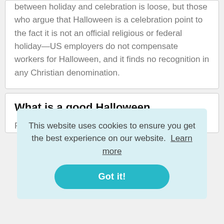between holiday and celebration is loose, but those who argue that Halloween is a celebration point to the fact it is not an official religious or federal holiday—US employers do not compensate workers for Halloween, and it finds no recognition in any Christian denomination.
What is a good Halloween
This website uses cookies to ensure you get the best experience on our website.  Learn more
Got it!
Flickr user vietnamted put together a